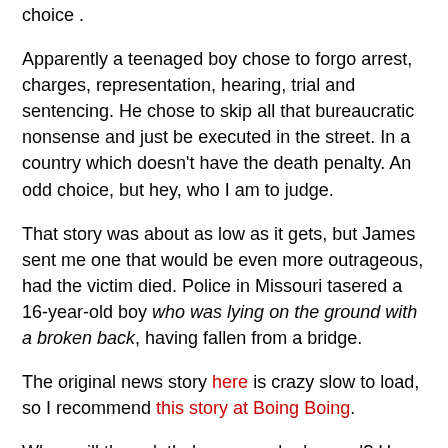choice .
Apparently a teenaged boy chose to forgo arrest, charges, representation, hearing, trial and sentencing. He chose to skip all that bureaucratic nonsense and just be executed in the street. In a country which doesn't have the death penalty. An odd choice, but hey, who I am to judge.
That story was about as low as it gets, but James sent me one that would be even more outrageous, had the victim died. Police in Missouri tasered a 16-year-old boy who was lying on the ground with a broken back, having fallen from a bridge.
The original news story here is crazy slow to load, so I recommend this story at Boing Boing.
When will these lethal weapons be banned? How many more people will die before we take them out of cops' hands?
Truth, Not Tasers has some good news.